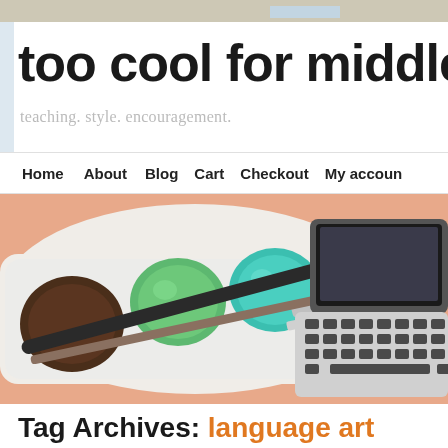too cool for middle
teaching. style. encouragement.
Home   About   Blog   Cart   Checkout   My account
[Figure (illustration): Flat illustration of a watercolor paint palette with brown, green, teal, blue paint wells and two paintbrushes, alongside a laptop keyboard, on a peach/salmon background]
Tag Archives: language art